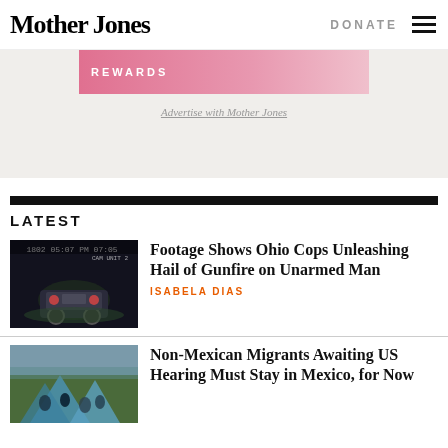Mother Jones | DONATE
[Figure (photo): Pink advertisement banner with 'REWARDS' text and 'Advertise with Mother Jones' link below]
Advertise with Mother Jones
LATEST
[Figure (photo): Night dashcam footage showing a car with brake lights on a dark road]
Footage Shows Ohio Cops Unleashing Hail of Gunfire on Unarmed Man
ISABELA DIAS
[Figure (photo): Group of migrants in a crowded area with tents]
Non-Mexican Migrants Awaiting US Hearing Must Stay in Mexico, for Now